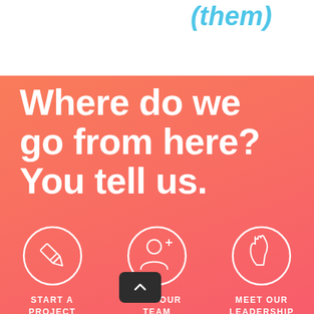(them)
Where do we go from here? You tell us.
[Figure (illustration): Three circular icons on coral/orange-red gradient background: pencil/edit icon, add person/join icon, handshake/meet icon]
START A PROJECT
JOIN OUR TEAM
MEET OUR LEADERSHIP